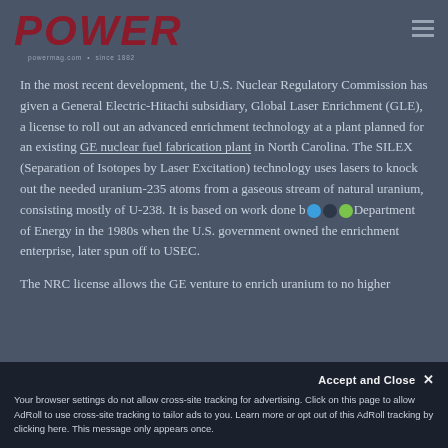POWER
In the most recent development, the U.S. Nuclear Regulatory Commission has given a General Electric-Hitachi subsidiary, Global Laser Enrichment (GLE), a license to roll out an advanced enrichment technology at a plant planned for an existing GE nuclear fuel fabrication plant in North Carolina. The SILEX (Separation of Isotopes by Laser Excitation) technology uses lasers to knock out the needed uranium-235 atoms from a gaseous stream of natural uranium, consisting mostly of U-238. It is based on work done by the U.S. Department of Energy in the 1980s when the U.S. government owned the enrichment enterprise, later spun off to USEC.
The NRC license allows the GE venture to enrich uranium to no higher
Accept and Close ✕
Your browser settings do not allow cross-site tracking for advertising. Click on this page to allow AdRoll to use cross-site tracking to tailor ads to you. Learn more or opt out of this AdRoll tracking by clicking here. This message only appears once.